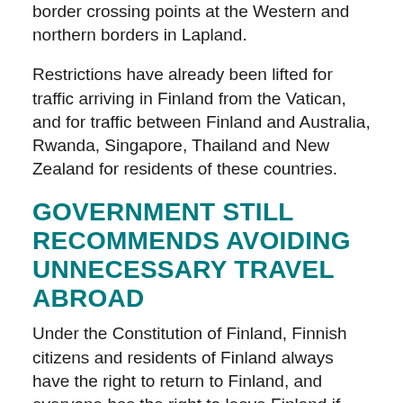border crossing points at the Western and northern borders in Lapland.
Restrictions have already been lifted for traffic arriving in Finland from the Vatican, and for traffic between Finland and Australia, Rwanda, Singapore, Thailand and New Zealand for residents of these countries.
GOVERNMENT STILL RECOMMENDS AVOIDING UNNECESSARY TRAVEL ABROAD
Under the Constitution of Finland, Finnish citizens and residents of Finland always have the right to return to Finland, and everyone has the right to leave Finland if they so wish, provided that there is no legal impediment to this. However, the Government still recommends avoiding